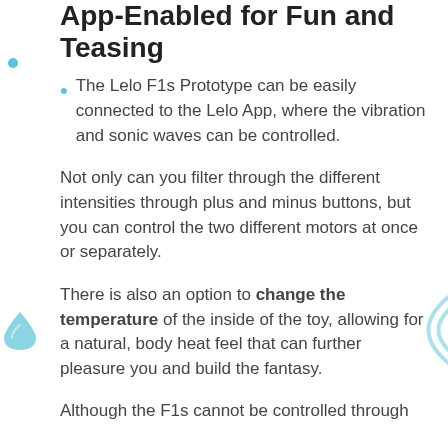App-Enabled for Fun and Teasing
The Lelo F1s Prototype can be easily connected to the Lelo App, where the vibration and sonic waves can be controlled.
Not only can you filter through the different intensities through plus and minus buttons, but you can control the two different motors at once or separately.
There is also an option to change the temperature of the inside of the toy, allowing for a natural, body heat feel that can further pleasure you and build the fantasy.
Although the F1s cannot be controlled through